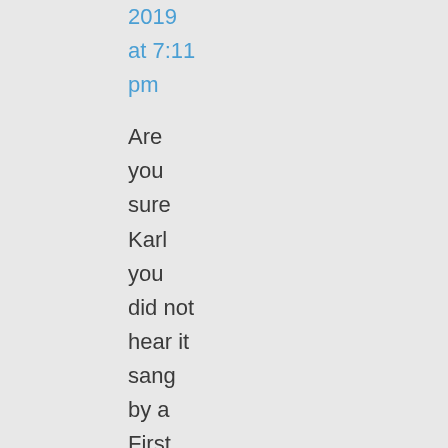2019
at 7:11
pm
Are you sure Karl you did not hear it sang by a First Lady?

Sonny,